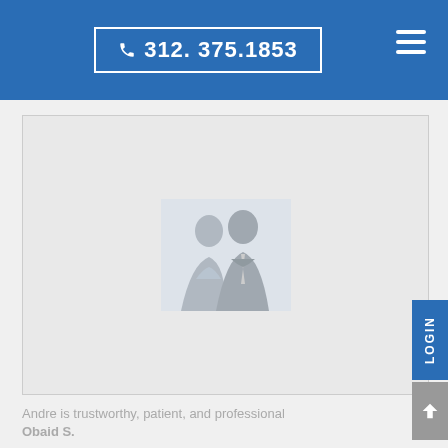312. 375.1853
[Figure (photo): Placeholder silhouette image of two people (a man and a woman) in professional attire against a light background inside a card/frame]
Andre is trustworthy, patient, and professional
Obaid S.